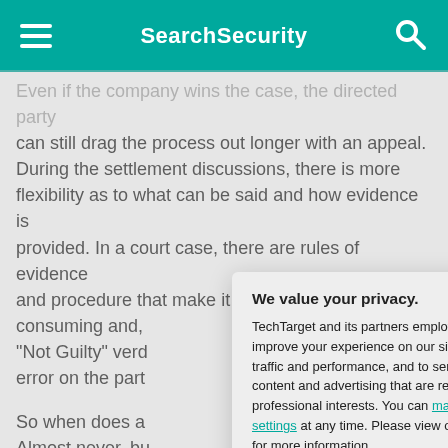SearchSecurity
Even if the company wins the case, the directed party can still drag the process out longer with an appeal. During the settlement discussions, there is more flexibility as to what can be said and how evidence is provided. In a court case, there are rules of evidence and procedure that make it cumbersome, time-consuming and, "Not Guilty" verd error on the part
So when does a Almost never, bu and would exce latter is the bette ultimately the on
The CISO shou lawsuit will be se
[Figure (screenshot): Privacy consent modal dialog with title 'We value your privacy.' containing text about TechTarget and its partners using cookies, with links to 'manage your settings' and 'Privacy Policy', and two buttons: 'OK' (teal) and 'Settings' (white/outlined). A close button (X) appears in the top-right corner.]